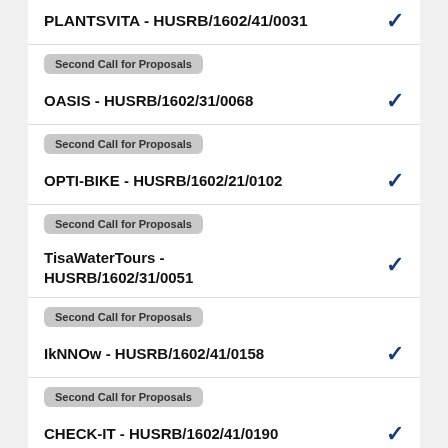PLANTSVITA - HUSRB/1602/41/0031
Second Call for Proposals
OASIS - HUSRB/1602/31/0068
Second Call for Proposals
OPTI-BIKE - HUSRB/1602/21/0102
Second Call for Proposals
TisaWaterTours - HUSRB/1602/31/0051
Second Call for Proposals
IkNNOw - HUSRB/1602/41/0158
Second Call for Proposals
CHECK-IT - HUSRB/1602/41/0190